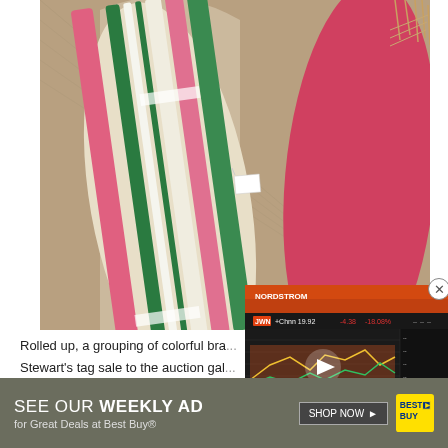[Figure (photo): Rolled up colorful braided rugs with pink, green, and white stripes, bundled with tape labels, displayed on a burlap surface]
[Figure (screenshot): Video overlay showing a financial news broadcast with stock chart for NORDSTROM, headline 'SHOPPERS PULL BACK AS INFLATION PINCHES', with a play button in the center]
Rolled up, a grouping of colorful bra...
Stewart's tag sale to the auction gal...
[Figure (infographic): Best Buy advertisement banner: SEE OUR WEEKLY AD for Great Deals at Best Buy® with SHOP NOW button and Best Buy logo]